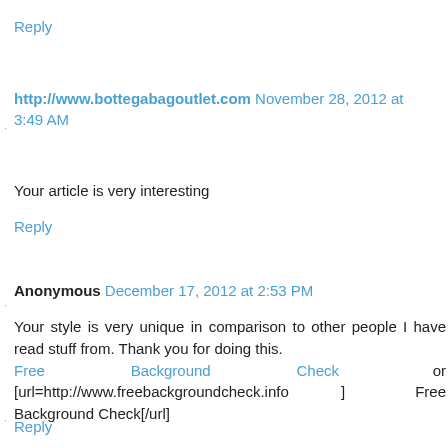Reply
http://www.bottegabagoutlet.com November 28, 2012 at 3:49 AM
Your article is very interesting
Reply
Anonymous December 17, 2012 at 2:53 PM
Your style is very unique in comparison to other people I have read stuff from. Thank you for doing this. Free Background Check or [url=http://www.freebackgroundcheck.info ] Free Background Check[/url]
Reply
Anonymous December 24, 2012 at 5:51 AM